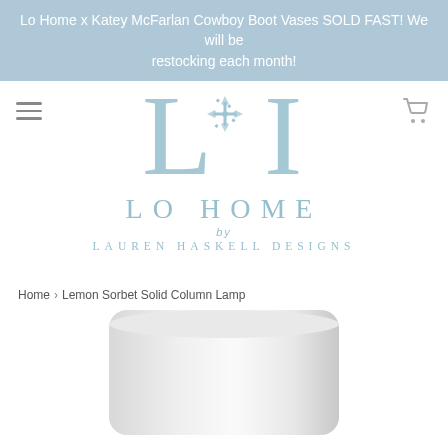Lo Home x Katey McFarlan Cowboy Boot Vases SOLD FAST! We will be restocking each month!
[Figure (logo): Lo Home by Lauren Haskell Designs monogram logo with LHI lettermark in light blue/steel blue color]
Home › Lemon Sorbet Solid Column Lamp
[Figure (photo): Product photo of a Lemon Sorbet Solid Column Lamp - a white/cream cylindrical lamp base]